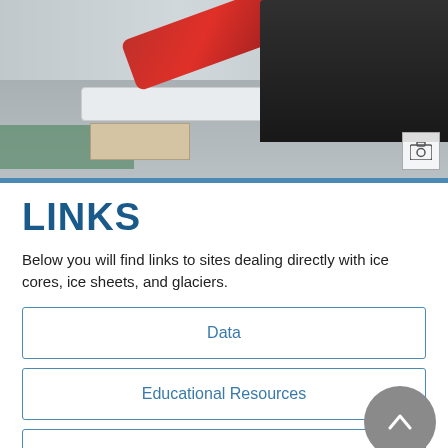[Figure (photo): A person in dark clothing using a red power drill/tool to cut an ice core on a white surface in a laboratory setting.]
LINKS
Below you will find links to sites dealing directly with ice cores, ice sheets, and glaciers.
Data
Educational Resources
Institutional Sites